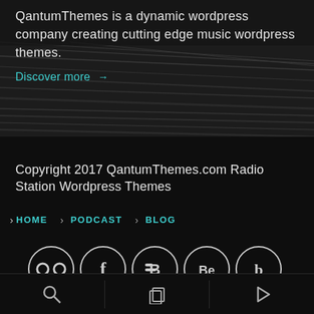QantumThemes is a dynamic wordpress company creating cutting edge music wordpress themes.
Discover more →
[Figure (photo): Dark blurred background with diagonal light streaks suggesting vinyl records or audio equipment]
Copyright 2017 QantumThemes.com Radio Station Wordpress Themes
> HOME   > PODCAST   > BLOG
[Figure (other): Row of 5 circular social media icons: Flickr, Facebook, Blogger, Behance, and one more brand icon]
[Figure (other): Bottom navigation bar with search icon, copy/pages icon, and play button icon, separated by vertical dividers]